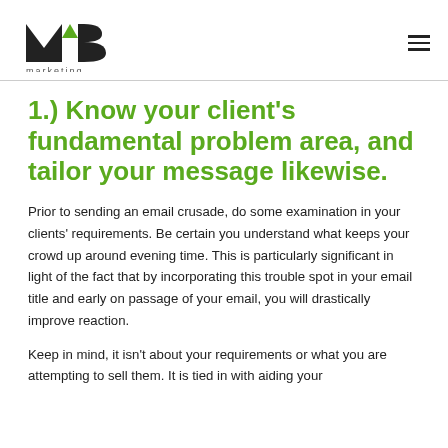MB Marketing [logo]
1.) Know your client’s fundamental problem area, and tailor your message likewise.
Prior to sending an email crusade, do some examination in your clients’ requirements. Be certain you understand what keeps your crowd up around evening time. This is particularly significant in light of the fact that by incorporating this trouble spot in your email title and early on passage of your email, you will drastically improve reaction.
Keep in mind, it isn’t about your requirements or what you are attempting to sell them. It is tied in with aiding your…